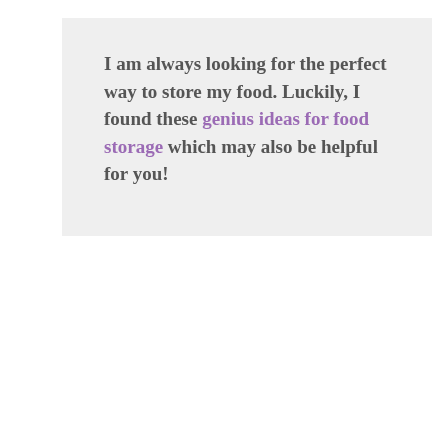I am always looking for the perfect way to store my food. Luckily, I found these genius ideas for food storage which may also be helpful for you!